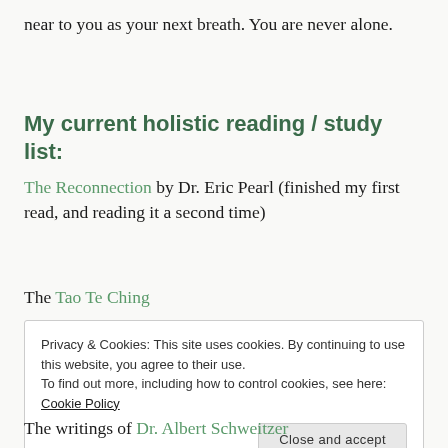near to you as your next breath. You are never alone.
My current holistic reading / study list:
The Reconnection by Dr. Eric Pearl (finished my first read, and reading it a second time)
The Tao Te Ching
Privacy & Cookies: This site uses cookies. By continuing to use this website, you agree to their use.
To find out more, including how to control cookies, see here: Cookie Policy
The writings of Dr. Albert Schweitzer